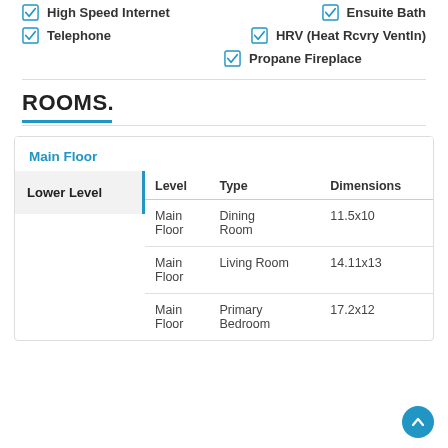High Speed Internet
Ensuite Bath
Telephone
HRV (Heat Rcvry Ventln)
Propane Fireplace
ROOMS.
| Level | Type | Dimensions |
| --- | --- | --- |
| Main Floor | Dining Room | 11.5x10 |
| Main Floor | Living Room | 14.11x13 |
| Main Floor | Primary Bedroom | 17.2x12 |